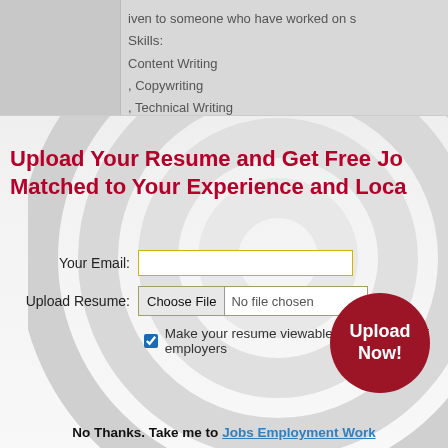iven to someone who have worked on s
Skills:
Content Writing
, Copywriting
, Technical Writing
Upload Your Resume and Get Free Jo Matched to Your Experience and Loca
Your Email:
Upload Resume: Choose File No file chosen
Make your resume viewable to thousands of employers
[Figure (other): Upload Now! circular red button]
No Thanks. Take me to Jobs Employment Work